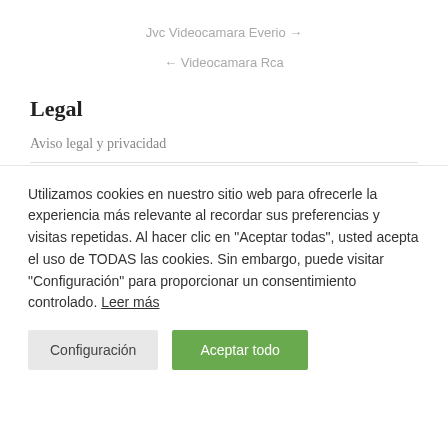Jvc Videocamara Everio →
← Videocamara Rca
Legal
Aviso legal y privacidad
Utilizamos cookies en nuestro sitio web para ofrecerle la experiencia más relevante al recordar sus preferencias y visitas repetidas. Al hacer clic en "Aceptar todas", usted acepta el uso de TODAS las cookies. Sin embargo, puede visitar "Configuración" para proporcionar un consentimiento controlado. Leer más
Configuración
Aceptar todo